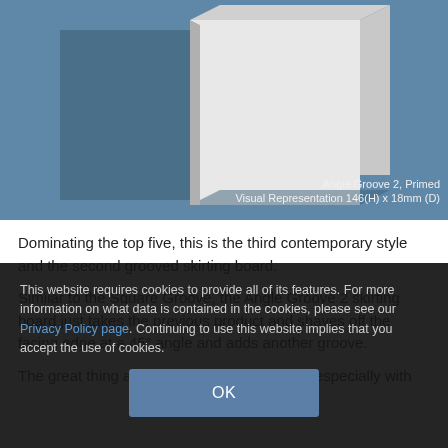[Figure (illustration): 3D render of Angle Groove 2 skirting board in primed white finish on a steel-blue background. Caption reads: 'Angle Groove 2, Primed Visual Representation 146(H) x 18mm (D)']
Dominating the top five, this is the third contemporary style and the second grooved skirting board.
Similar to the Square Groove, the Angle Groove 2 skirting board just takes the previous product and shaves off the facing edge at a 45° angle and adds another groove.
The great thing about our grooved products, especially with
This website requires cookies to provide all of its features. For more information on what data is contained in the cookies, please see our Privacy Policy page. Continuing to use this website implies that you accept the use of cookies.